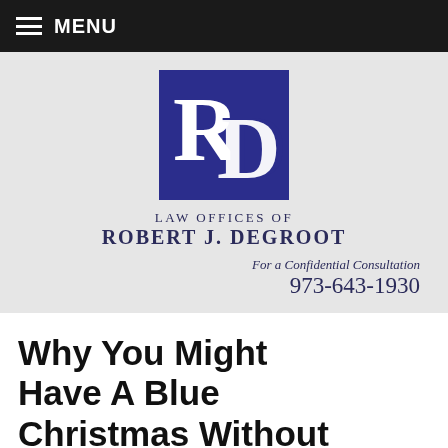MENU
[Figure (logo): Law Offices of Robert J. DeGroot logo — dark blue square with stylized R and D letters in white]
LAW OFFICES OF ROBERT J. DEGROOT
For a Confidential Consultation
973-643-1930
Why You Might Have A Blue Christmas Without A White Collar Crime Lawyer